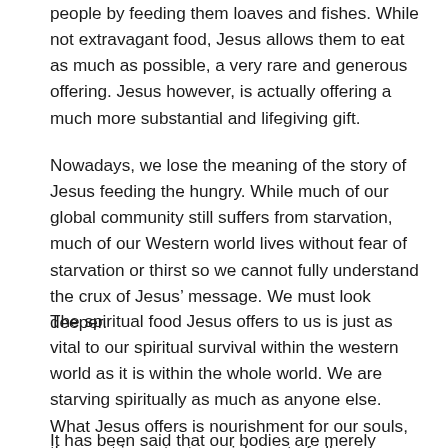people by feeding them loaves and fishes. While not extravagant food, Jesus allows them to eat as much as possible, a very rare and generous offering. Jesus however, is actually offering a much more substantial and lifegiving gift.
Nowadays, we lose the meaning of the story of Jesus feeding the hungry. While much of our global community still suffers from starvation, much of our Western world lives without fear of starvation or thirst so we cannot fully understand the crux of Jesus' message. We must look deeper.
The spiritual food Jesus offers to us is just as vital to our spiritual survival within the western world as it is within the whole world. We are starving spiritually as much as anyone else. What Jesus offers is nourishment for our souls, the most important nourishment of all.
It has been said that our bodies are merely vessels that